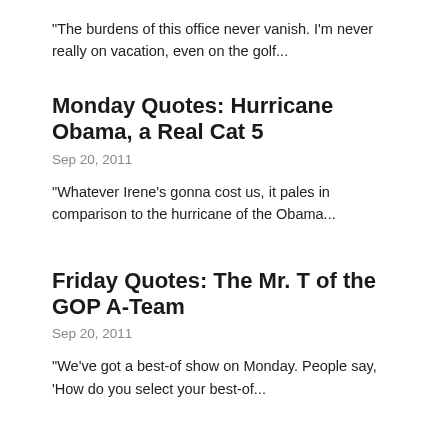“The burdens of this office never vanish. I’m never really on vacation, even on the golf…
Monday Quotes: Hurricane Obama, a Real Cat 5
Sep 20, 2011
“Whatever Irene’s gonna cost us, it pales in comparison to the hurricane of the Obama…
Friday Quotes: The Mr. T of the GOP A-Team
Sep 20, 2011
“We’ve got a best-of show on Monday. People say, ‘How do you select your best-of…